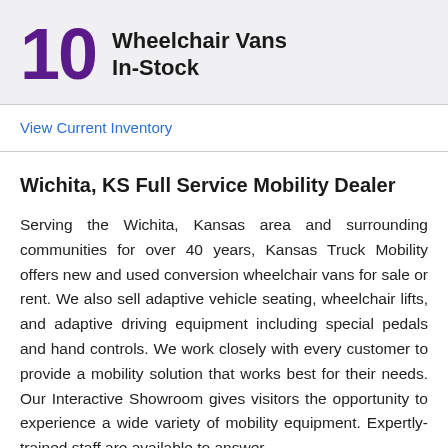10 Wheelchair Vans In-Stock
View Current Inventory
Wichita, KS Full Service Mobility Dealer
Serving the Wichita, Kansas area and surrounding communities for over 40 years, Kansas Truck Mobility offers new and used conversion wheelchair vans for sale or rent. We also sell adaptive vehicle seating, wheelchair lifts, and adaptive driving equipment including special pedals and hand controls. We work closely with every customer to provide a mobility solution that works best for their needs. Our Interactive Showroom gives visitors the opportunity to experience a wide variety of mobility equipment. Expertly-trained staff are available to answer